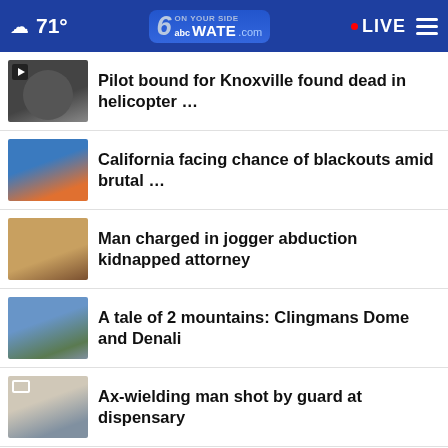71° WATE.com LIVE
Pilot bound for Knoxville found dead in helicopter …
California facing chance of blackouts amid brutal …
Man charged in jogger abduction kidnapped attorney
A tale of 2 mountains: Clingmans Dome and Denali
Ax-wielding man shot by guard at dispensary
Why these baseball cards often sell for millions